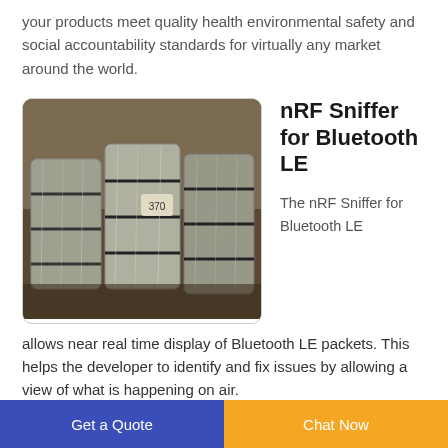your products meet quality health environmental safety and social accountability standards for virtually any market around the world.
[Figure (photo): Photo of bundled/baled goods stacked in a warehouse, wrapped with strapping bands.]
nRF Sniffer for Bluetooth LE
The nRF Sniffer for Bluetooth LE allows near real time display of Bluetooth LE packets. This helps the developer to identify and fix issues by allowing a view of what is happening on air.
Get a Quote   Chat Now